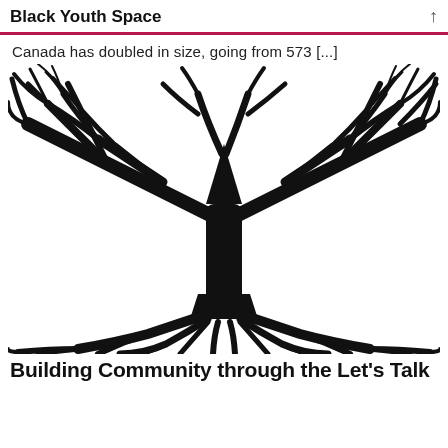Black Youth Space
Canada has doubled in size, going from 573 [...]
[Figure (illustration): Black silhouette illustration of a bare tree with wide spreading branches and visible root system forming a circular/round canopy shape, all in black on white background.]
Building Community through the Let's Talk